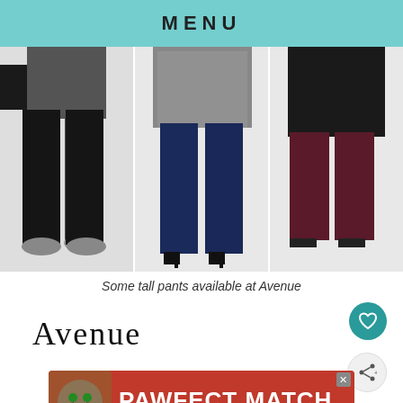MENU
[Figure (photo): Three fashion product photos showing plus-size models wearing pants: left shows black leggings with sneakers, center shows navy wide-leg pants with heels, right shows burgundy/wine cropped pants with heels.]
Some tall pants available at Avenue
Avenue
[Figure (other): Heart/favorite button (teal circle with white heart icon)]
[Figure (other): Share button (light gray circle with share icon)]
[Figure (other): Advertisement banner: PAWFECT MATCH with cat image, red background]